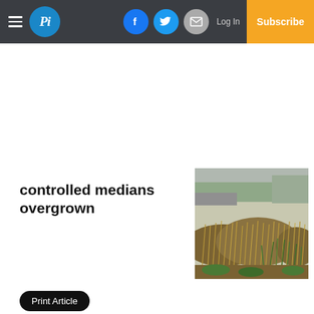Pi – Log In | Subscribe
controlled medians overgrown
[Figure (photo): Photograph of overgrown grass and weeds on a road median, with dry brown and green vegetation, road visible in background]
Print Article